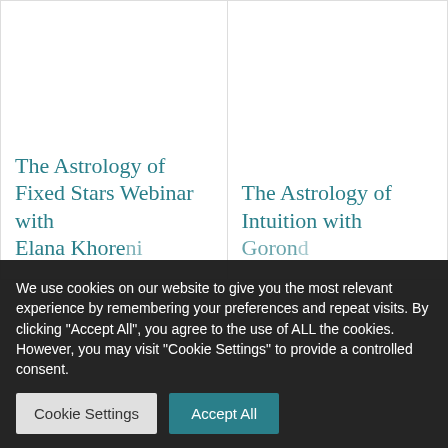The Astrology of Fixed Stars Webinar with Elana Khorenia
The Astrology of Intuition with Gorond
We use cookies on our website to give you the most relevant experience by remembering your preferences and repeat visits. By clicking “Accept All”, you agree to the use of ALL the cookies. However, you may visit "Cookie Settings" to provide a controlled consent.